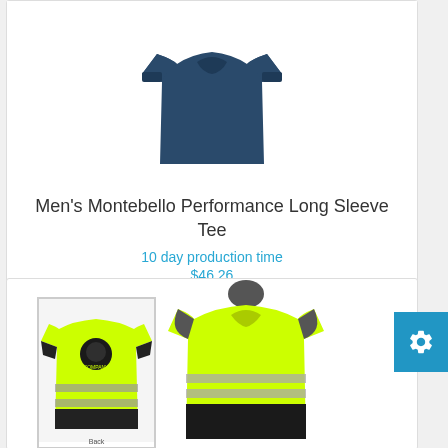[Figure (photo): Navy blue long sleeve performance tee shirt on invisible mannequin, top portion cropped]
Men's Montebello Performance Long Sleeve Tee
10 day production time
$46.26
[Figure (photo): High-visibility yellow safety tee with reflective stripes. Thumbnail shows back view with logo; main image shows front view on mannequin.]